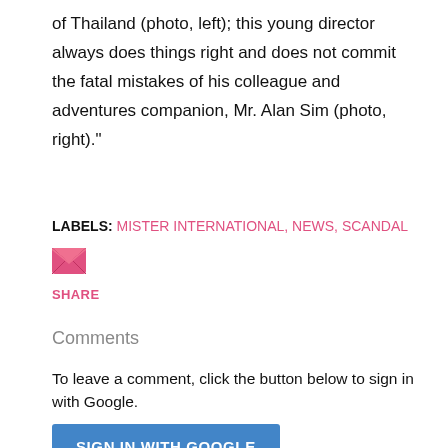of Thailand (photo, left); this young director always does things right and does not commit the fatal mistakes of his colleague and adventures companion, Mr. Alan Sim (photo, right)."
LABELS: MISTER INTERNATIONAL, NEWS, SCANDAL
[Figure (illustration): Pink/red email envelope icon]
SHARE
Comments
To leave a comment, click the button below to sign in with Google.
SIGN IN WITH GOOGLE